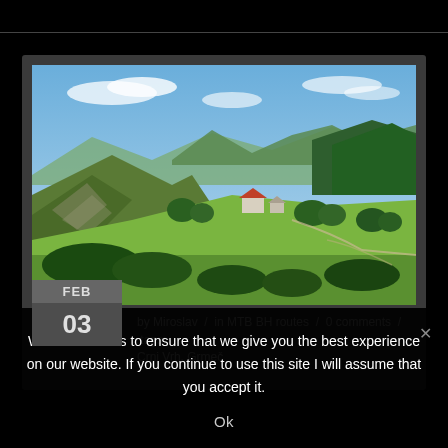[Figure (photo): Panoramic landscape photo showing green rolling hills, meadows, a small house with red roof, mountains in the background, and blue sky with clouds. MTB/cycling route location in Bosnia and Herzegovina.]
FEB
03
by Miroslav / in MTB BH routes / 0 comments / tags:
Crni Vrh, Grmeč
We use cookies to ensure that we give you the best experience on our website. If you continue to use this site I will assume that you accept it.
Ok